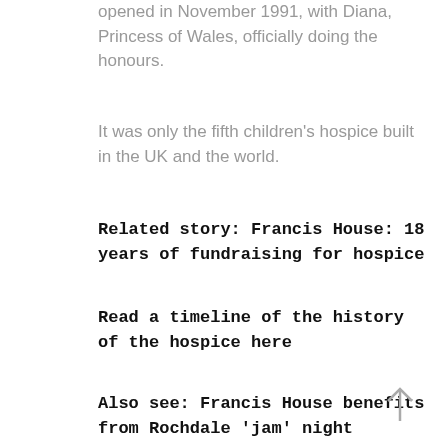opened in November 1991, with Diana, Princess of Wales, officially doing the honours.
It was only the fifth children's hospice built in the UK and the world.
Related story: Francis House: 18 years of fundraising for hospice
Read a timeline of the history of the hospice here
Also see: Francis House benefits from Rochdale 'jam' night